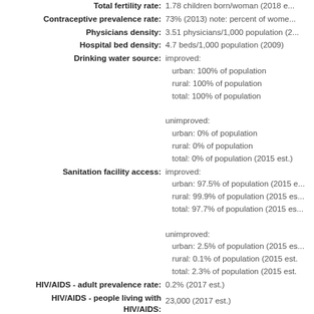Total fertility rate: 1.78 children born/woman (2018 e...)
Contraceptive prevalence rate: 73% (2013) note: percent of wome...
Physicians density: 3.51 physicians/1,000 population (2...
Hospital bed density: 4.7 beds/1,000 population (2009)
Drinking water source: improved: urban: 100% of population rural: 100% of population total: 100% of population unimproved: urban: 0% of population rural: 0% of population total: 0% of population (2015 est.)
Sanitation facility access: improved: urban: 97.5% of population (2015 e...) rural: 99.9% of population (2015 es...) total: 97.7% of population (2015 es...) unimproved: urban: 2.5% of population (2015 es...) rural: 0.1% of population (2015 est.) total: 2.3% of population (2015 est.)
HIV/AIDS - adult prevalence rate: 0.2% (2017 est.)
HIV/AIDS - people living with HIV/AIDS: 23,000 (2017 est.)
HIV/AIDS - deaths: <500 (2017 est.)
Obesity - adult prevalence rate: 20.4% (2016)
Education expenditures: 5.4% of GDP (2015)